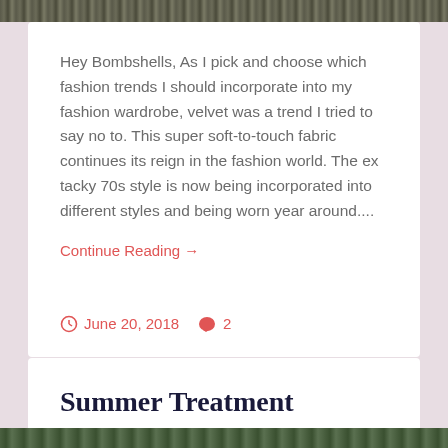[Figure (photo): Top strip of a textured dark photo, likely clothing or fabric]
Hey Bombshells, As I pick and choose which fashion trends I should incorporate into my fashion wardrobe, velvet was a trend I tried to say no to. This super soft-to-touch fabric continues its reign in the fashion world. The ex tacky 70s style is now being incorporated into different styles and being worn year around....
Continue Reading →
June 20, 2018   2
Summer Treatment
[Figure (photo): Bottom strip of a photo, partially visible at the bottom of the page]